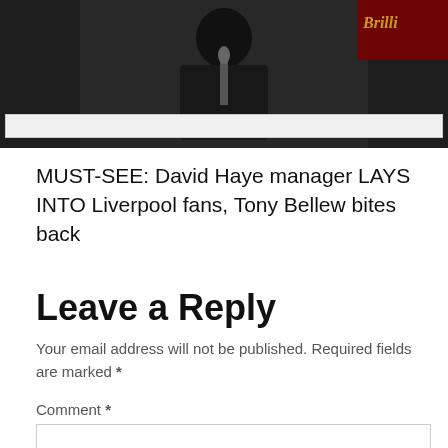[Figure (photo): Photo of a person at a microphone, with a dark background and red banner elements on left and right sides, and a white browser-style bar at the bottom of the image.]
MUST-SEE: David Haye manager LAYS INTO Liverpool fans, Tony Bellew bites back
Leave a Reply
Your email address will not be published. Required fields are marked *
Comment *